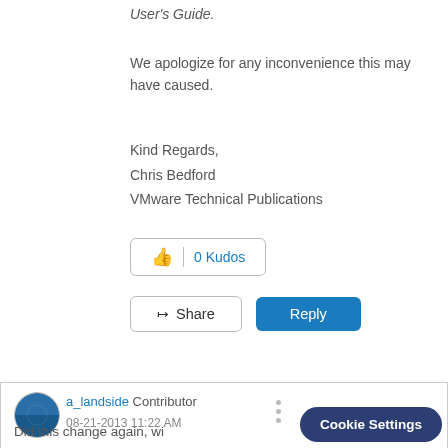User's Guide.
We apologize for any inconvenience this may have caused.
Kind Regards,
Chris Bedford
VMware Technical Publications
0 Kudos
Share
Reply
a_landside  Contributor
08-21-2013 11:22 AM
Did this change again, wi documentation being upd